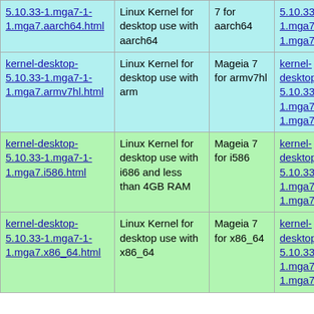| kernel-desktop-5.10.33-1.mga7-1-1.mga7.aarch64.html | Linux Kernel for desktop use with aarch64 | Mageia 7 for aarch64 | kernel-desktop-5.10.33-1.mga7-1-1.mga7.aarch64.rpm |
| kernel-desktop-5.10.33-1.mga7-1-1.mga7.armv7hl.html | Linux Kernel for desktop use with arm | Mageia 7 for armv7hl | kernel-desktop-5.10.33-1.mga7-1-1.mga7.armv7hl.rpm |
| kernel-desktop-5.10.33-1.mga7-1-1.mga7.i586.html | Linux Kernel for desktop use with i686 and less than 4GB RAM | Mageia 7 for i586 | kernel-desktop-5.10.33-1.mga7-1-1.mga7.i586.rpm |
| kernel-desktop-5.10.33-1.mga7-1-1.mga7.x86_64.html | Linux Kernel for desktop use with x86_64 | Mageia 7 for x86_64 | kernel-desktop-5.10.33-1.mga7-1-1.mga7.x86_64.rpm |